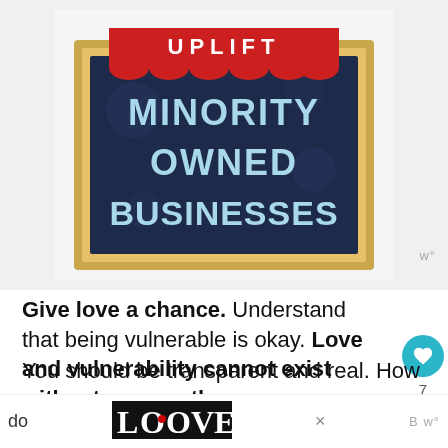[Figure (illustration): A store-front sign illustration with a red awning at the top reading 'UPLIFT' in white letters, and a dark navy marquee board below reading 'MINORITY OWNED BUSINESSES' in large light blue bold text. The sign has a golden/tan wooden frame. Background shows slight decorative elements.]
Give love a chance. Understand that being vulnerable is okay. Love and vulnerability cannot exist without one another.
You should be transparent and real. How do